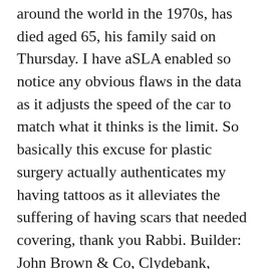around the world in the 1970s, has died aged 65, his family said on Thursday. I have aSLA enabled so notice any obvious flaws in the data as it adjusts the speed of the car to match what it thinks is the limit. So basically this excuse for plastic surgery actually authenticates my having tattoos as it alleviates the suffering of having scars that needed covering, thank you Rabbi. Builder: John Brown & Co, Clydebank, Scotland. What Does Lifelong Learning Mean for Students? Length: 240 m. At the start of the World War I, the United States remained an immobile presence, but the destruction of Lusitania gave way to the American entry into the war, changing the future of the world history. The figures cited show that of 179,527 planned elective operations in NHS Scotland over a six-month period. ... Tam The Bam says: 28 December, 2015 at